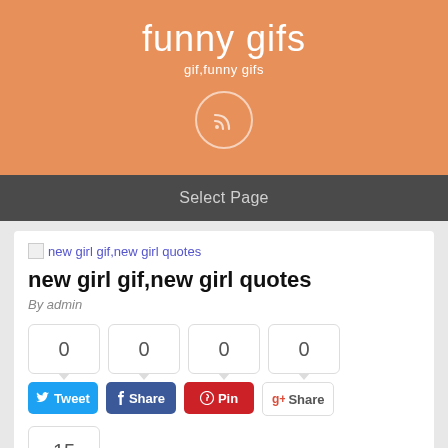funny gifs
gif,funny gifs
Select Page
new girl gif,new girl quotes
new girl gif,new girl quotes
By admin
0 0 0 0
Tweet Share Pin Share
15
Share